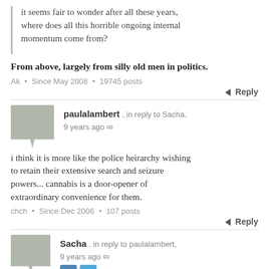it seems fair to wonder after all these years, where does all this horrible ongoing internal momentum come from?
From above, largely from silly old men in politics.
Ak • Since May 2008 • 19745 posts
Reply
paulalambert, in reply to Sacha, 9 years ago ∞
i think it is more like the police heirarchy wishing to retain their extensive search and seizure powers... cannabis is a door-opener of extraordinary convenience for them.
chch • Since Dec 2006 • 107 posts
Reply
Sacha, in reply to paulalambert, 9 years ago ∞